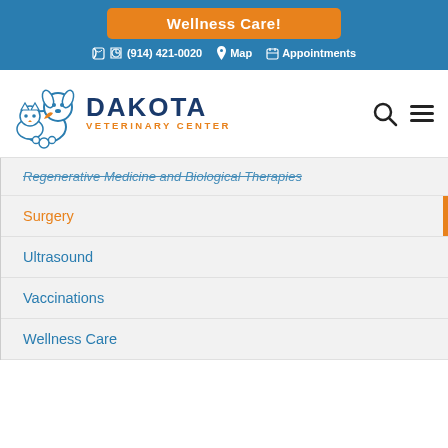Wellness Care!
(914) 421-0020   Map   Appointments
[Figure (logo): Dakota Veterinary Center logo with illustrated dog and cat, text DAKOTA VETERINARY CENTER]
Regenerative Medicine and Biological Therapies
Surgery
Ultrasound
Vaccinations
Wellness Care